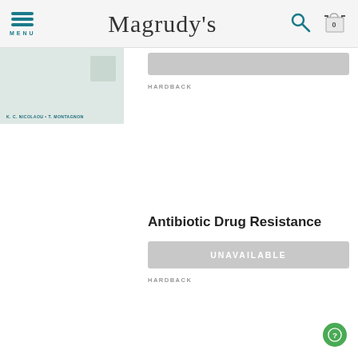Magrudy's — MENU, Search, Cart (0)
[Figure (screenshot): Partial book cover with authors K.C. NICOLAOU and T. MONTAGNON visible at bottom, with decorative element top right]
HARDBACK
Antibiotic Drug Resistance
UNAVAILABLE
HARDBACK